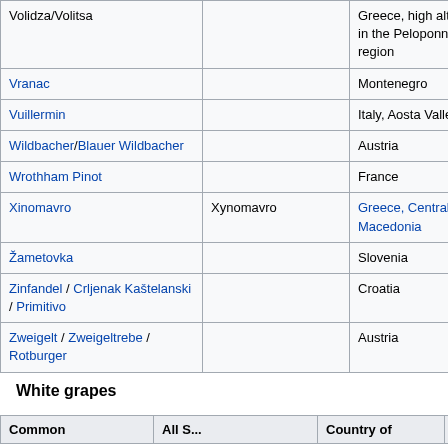| Common name | Also seen as | Country of origin |
| --- | --- | --- |
| Volidza/Volitsa |  | Greece, high altitudes in the Peloponnese region |
| Vranac |  | Montenegro |
| Vuillermin |  | Italy, Aosta Valley |
| Wildbacher/Blauer Wildbacher |  | Austria |
| Wrothham Pinot |  | France |
| Xinomavro | Xynomavro | Greece, Central Macedonia |
| Žametovka |  | Slovenia |
| Zinfandel / Crljenak Kaštelanski / Primitivo |  | Croatia |
| Zweigelt / Zweigeltrebe / Rotburger |  | Austria |
White grapes
| Common | Also S... | Country of | Rel... |
| --- | --- | --- | --- |